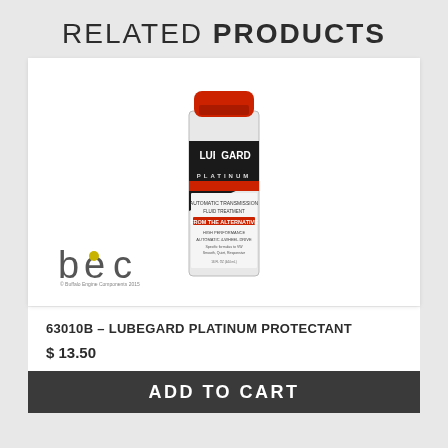RELATED PRODUCTS
[Figure (photo): Product image of Lubegard Platinum Protectant bottle with red cap and black/white/red label, alongside a BEC logo]
63010B – LUBEGARD PLATINUM PROTECTANT
$ 13.50
ADD TO CART